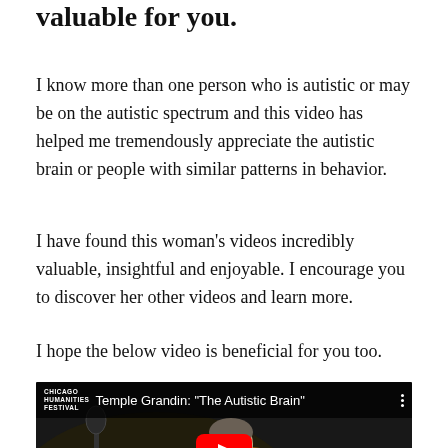valuable for you.
I know more than one person who is autistic or may be on the autistic spectrum and this video has helped me tremendously appreciate the autistic brain or people with similar patterns in behavior.
I have found this woman's videos incredibly valuable, insightful and enjoyable. I encourage you to discover her other videos and learn more.
I hope the below video is beneficial for you too.
[Figure (screenshot): YouTube video thumbnail showing Temple Grandin: 'The Autistic Brain' from Chicago Humanities Festival, with an image of Temple Grandin speaking at a microphone wearing an orange jacket, and a YouTube play button overlay.]